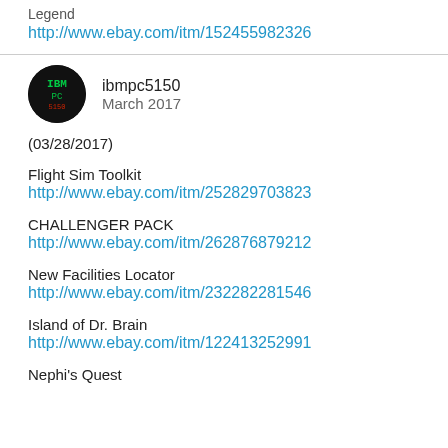Legend
http://www.ebay.com/itm/152455982326
ibmpc5150
March 2017
(03/28/2017)
Flight Sim Toolkit
http://www.ebay.com/itm/252829703823
CHALLENGER PACK
http://www.ebay.com/itm/262876879212
New Facilities Locator
http://www.ebay.com/itm/232282281546
Island of Dr. Brain
http://www.ebay.com/itm/122413252991
Nephi's Quest